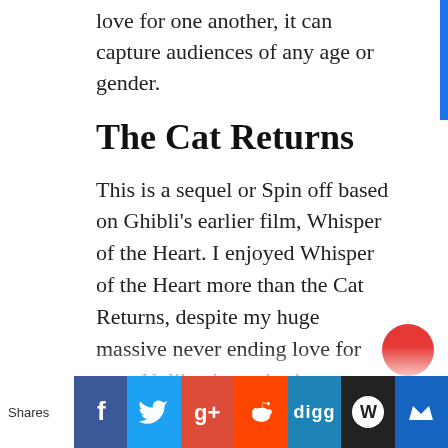love for one another, it can capture audiences of any age or gender.
The Cat Returns
This is a sequel or Spin off based on Ghibli's earlier film, Whisper of the Heart. I enjoyed Whisper of the Heart more than the Cat Returns, despite my huge massive never ending love for cats. Unlike the author's own sequel to her manga, this story is not related to the two main characters of Whisper of the Heart, but instead focuses on the story that was inspired by the cat-like doll, nicknamed Baron as he searches for his lost love Louise, who was taken from him by Muto. Despite